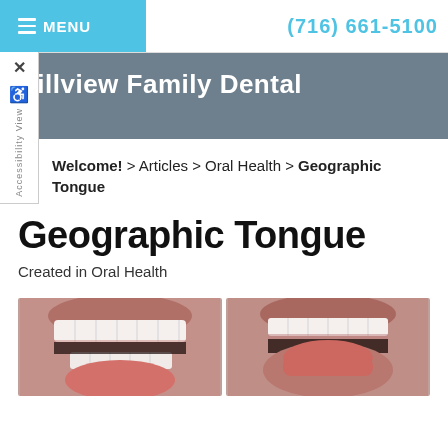≡ MENU  (716) 661-5100
Hillview Family Dental
Welcome! > Articles > Oral Health > Geographic Tongue
Geographic Tongue
Created in Oral Health
[Figure (photo): Two side-by-side close-up photos of open mouths showing teeth and tongue, illustrating geographic tongue condition]